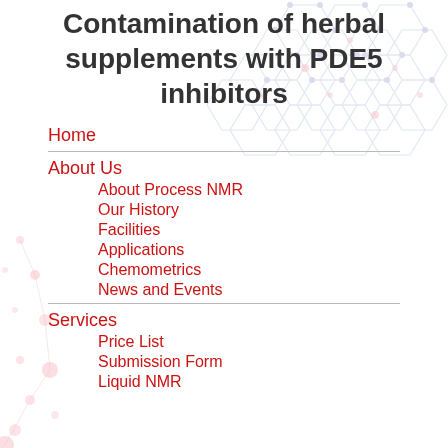Contamination of herbal supplements with PDE5 inhibitors
[Figure (illustration): Background molecular network/hexagon structure illustration in light blue and pink tones]
Home
About Us
About Process NMR
Our History
Facilities
Applications
Chemometrics
News and Events
Services
Price List
Submission Form
Liquid NMR